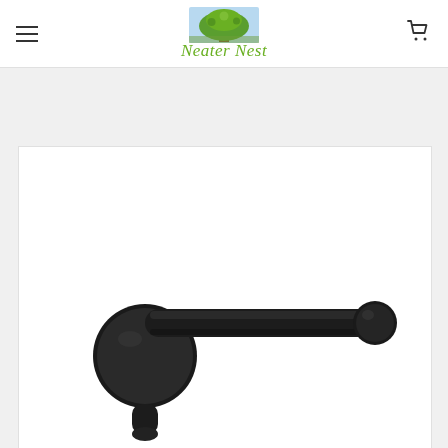Neater Nest – website header with logo, hamburger menu, and cart icon
[Figure (photo): Matte black toilet paper holder / towel bar with round wall-mount base on the left and a smaller cap on the right end, photographed on white background]